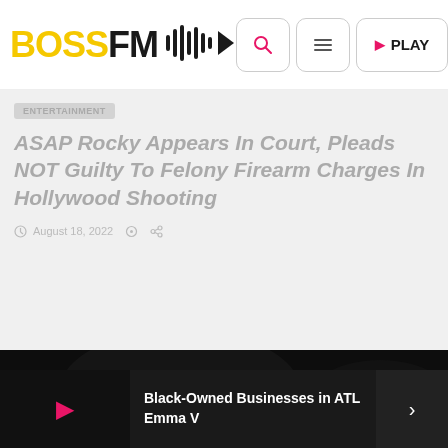BOSSFM
ASAP Rocky Appears In Court, Pleads NOT Guilty To Felony Firearm Charges In Hollywood Shooting
August 18, 2022
[Figure (photo): Dark background image, appears to be a low-light photo]
Black-Owned Businesses in ATL Emma V